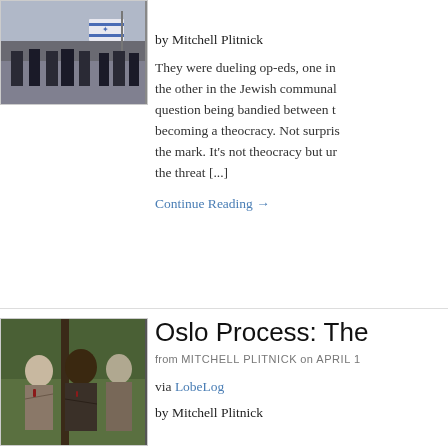[Figure (photo): People marching with Israeli flags]
by Mitchell Plitnick
They were dueling op-eds, one in the other in the Jewish communal question being bandied between t becoming a theocracy. Not surpris the mark. It's not theocracy but ur the threat [...]
Continue Reading →
[Figure (photo): Group of zombie-like figures in a wooded area]
Oslo Process: The
from MITCHELL PLITNICK on APRIL 1
via LobeLog
by Mitchell Plitnick